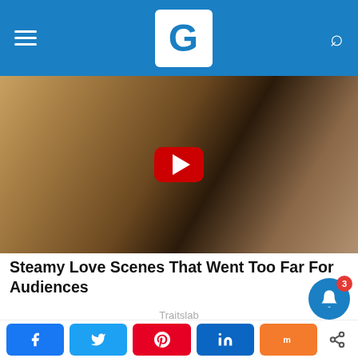G (logo) - navigation header
[Figure (screenshot): Video thumbnail showing a movie scene with a YouTube play button overlay]
Steamy Love Scenes That Went Too Far For Audiences
Traitslab
[Figure (photo): Second movie scene image showing two people]
Social share buttons: Facebook, Twitter, Pinterest, LinkedIn, Mix, Share